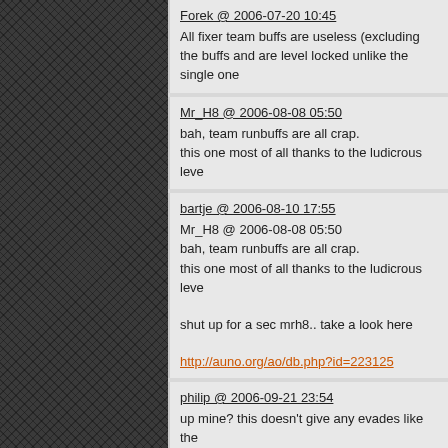Forek @ 2006-07-20 10:45
All fixer team buffs are useless (excluding the buffs and are level locked unlike the single one
Mr_H8 @ 2006-08-08 05:50
bah, team runbuffs are all crap.
this one most of all thanks to the ludicrous leve
bartje @ 2006-08-10 17:55
Mr_H8 @ 2006-08-08 05:50
bah, team runbuffs are all crap.
this one most of all thanks to the ludicrous leve
shut up for a sec mrh8.. take a look here
http://auno.org/ao/db.php?id=223125
philip @ 2006-09-21 23:54
up mine? this doesn't give any evades like the
houserocker @ 2007-10-19 12:09
This one is actually useful to have in the fairly and SL runbuff takes too much nano (and no l teammates tag those little altars faster.